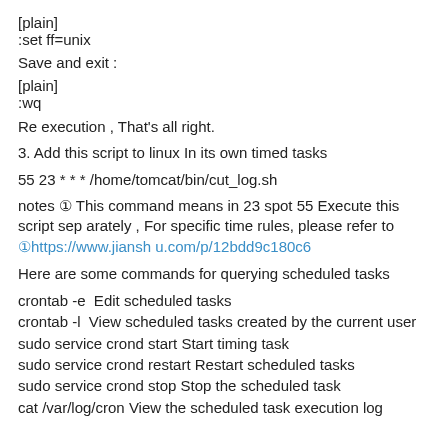[plain]
:set ff=unix
Save and exit :
[plain]
:wq
Re execution , That's all right.
3. Add this script to linux In its own timed tasks
55 23 * * * /home/tomcat/bin/cut_log.sh
notes ① This command means in 23 spot 55 Execute this script separately , For specific time rules, please refer to ①https://www.jianshu.com/p/12bdd9c180c6
Here are some commands for querying scheduled tasks
crontab -e  Edit scheduled tasks
crontab -l  View scheduled tasks created by the current user
sudo service crond start Start timing task
sudo service crond restart Restart scheduled tasks
sudo service crond stop Stop the scheduled task
cat /var/log/cron View the scheduled task execution log